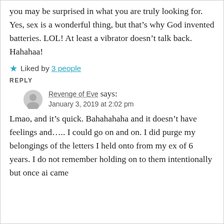you may be surprised in what you are truly looking for.
Yes, sex is a wonderful thing, but that’s why God invented batteries. LOL! At least a vibrator doesn’t talk back. Hahahaa!
★ Liked by 3 people
REPLY
Revenge of Eve says:
January 3, 2019 at 2:02 pm
Lmao, and it’s quick. Bahahahaha and it doesn’t have feelings and….. I could go on and on. I did purge my belongings of the letters I held onto from my ex of 6 years. I do not remember holding on to them intentionally but once ai came